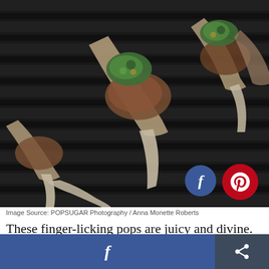[Figure (photo): Grilled lamb chops with green mint-pistachio pesto topping on a dark grill surface, multiple chops visible with exposed rib bones]
Image Source: POPSUGAR Photography / Anna Monette Roberts
These finger-licking pops are juicy and divine. Let's just say that the mint-pistachio pesto that's on top of the lamb pairs wonderfully with buttery